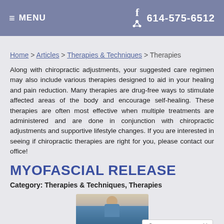≡ MENU  f  614-575-6512
Home > Articles > Therapies & Techniques > Therapies
Along with chiropractic adjustments, your suggested care regimen may also include various therapies designed to aid in your healing and pain reduction. Many therapies are drug-free ways to stimulate affected areas of the body and encourage self-healing. These therapies are often most effective when multiple treatments are administered and are done in conjunction with chiropractic adjustments and supportive lifestyle changes. If you are interested in seeing if chiropractic therapies are right for you, please contact our office!
MYOFASCIAL RELEASE
Category: Therapies & Techniques, Therapies
[Figure (photo): Person bending forward, partial view, chiropractic therapy related image]